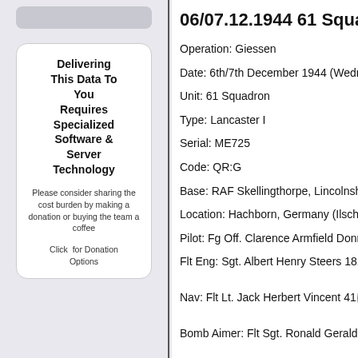06/07.12.1944 61 Squadron Lancaster
Operation: Giessen
Date: 6th/7th December 1944 (Wednesday/Thursday)
Unit: 61 Squadron
Type: Lancaster I
Serial: ME725
Code: QR:G
Base: RAF Skellingthorpe, Lincolnshire
Location: Hachborn, Germany (Ilschhausen 1km
Pilot: Fg Off. Clarence Armfield Donnelly 421844 R
Flt Eng: Sgt. Albert Henry Steers 1819122 RAFVR A
Nav: Flt Lt. Jack Herbert Vincent 41[...]F Ag
Bomb Aimer: Flt Sgt. Ronald Gerald Devereaux B
Delivering This Data To You Requires Specialized Software & Server Technology
Please consider sharing the cost burden by making a donation or buying the team a coffee
Click for Donation Options